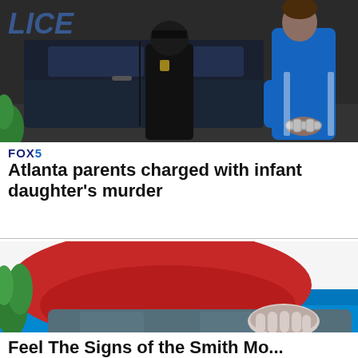[Figure (photo): Police arrest scene showing an officer and a person in blue clothing with handcuffs behind their back, beside a police car, with partial 'LICE' text visible on the car door]
FOX 5
Atlanta parents charged with infant daughter's murder
[Figure (photo): Person wearing a red long-sleeve shirt and jeans sitting on a blue couch, with one hand on their leg, suggesting pain or discomfort]
Feel The Signs of the Smith Mo...